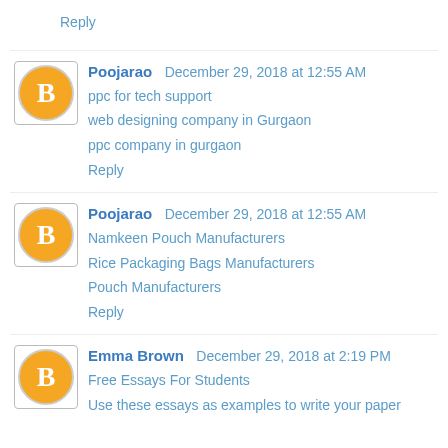Reply
Poojarao  December 29, 2018 at 12:55 AM
ppc for tech support
web designing company in Gurgaon
ppc company in gurgaon
Reply
Poojarao  December 29, 2018 at 12:55 AM
Namkeen Pouch Manufacturers
Rice Packaging Bags Manufacturers
Pouch Manufacturers
Reply
Emma Brown  December 29, 2018 at 2:19 PM
Free Essays For Students
Use these essays as examples to write your paper